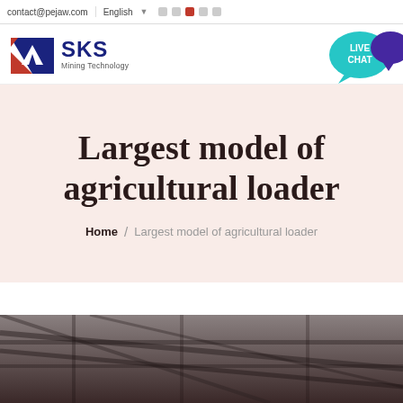contact@pejaw.com  English
[Figure (logo): SKS Mining Technology logo — red and blue arrow/shield icon with text 'SKS' and 'Mining Technology']
[Figure (illustration): Live Chat speech bubble icon in teal/cyan color with text 'LIVE CHAT' and a dark purple chat bubble alongside]
Largest model of agricultural loader
Home / Largest model of agricultural loader
[Figure (photo): Interior of industrial warehouse showing metal roof structure and beams from below, dark tones]